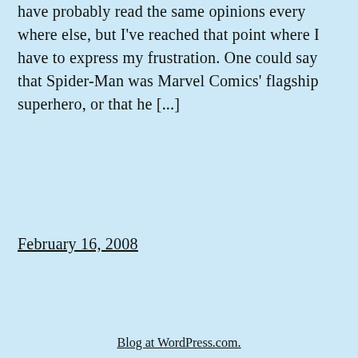have probably read the same opinions every where else, but I've reached that point where I have to express my frustration. One could say that Spider-Man was Marvel Comics' flagship superhero, or that he [...]
February 16, 2008
Blog at WordPress.com.